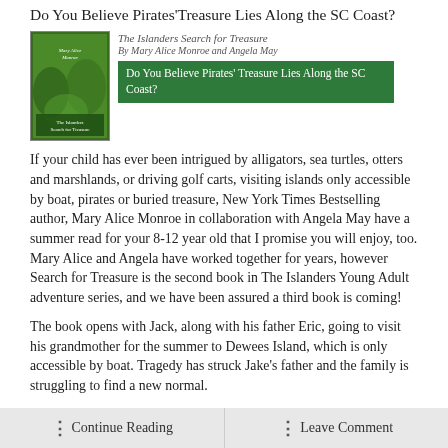Do You Believe Pirates'Treasure Lies Along the SC Coast?
[Figure (illustration): Book cover thumbnail for 'The Islanders Search for Treasure' by Mary Alice Monroe and Angela May, with a green background. Overlaid green banner reads: 'Do You Believe Pirates' Treasure Lies Along the SC Coast?']
If your child has ever been intrigued by alligators, sea turtles, otters and marshlands, or driving golf carts, visiting islands only accessible by boat, pirates or buried treasure, New York Times Bestselling author, Mary Alice Monroe in collaboration with Angela May have a summer read for your 8-12 year old that I promise you will enjoy, too. Mary Alice and Angela have worked together for years, however Search for Treasure is the second book in The Islanders Young Adult adventure series, and we have been assured a third book is coming!
The book opens with Jack, along with his father Eric, going to visit his grandmother for the summer to Dewees Island, which is only accessible by boat. Tragedy has struck Jake's father and the family is struggling to find a new normal.
Continue Reading   Leave Comment